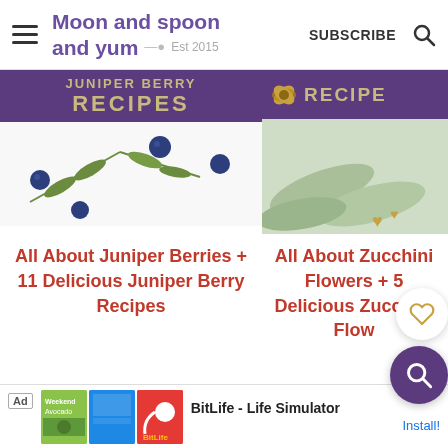Moon and spoon and yum — Est 2015 | SUBSCRIBE
[Figure (illustration): Juniper berry recipes card: purple banner with text 'JUNIPER BERRY RECIPES' in gold, white background with illustrated juniper branches and dark blue berries]
[Figure (illustration): Zucchini flower recipes card: purple banner with illustrated flower and text 'RECIPE' in gold, light green background with illustrated zucchini and gold hearts]
All About Juniper Berries + 11 Delicious Juniper Berry Recipes
All About Zucchini Flowers + 5 Delicious Zucchini Flow... Recipes
[Figure (other): Advertisement: BitLife - Life Simulator app ad with Install button]